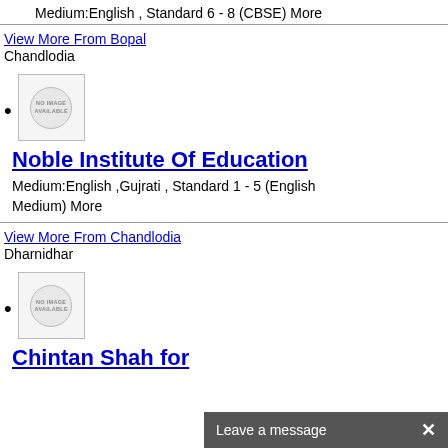Medium:English , Standard 6 - 8 (CBSE) More
View More From Bopal
Chandlodia
[Figure (illustration): No image available placeholder box with circular icon]
Noble Institute Of Education
Medium:English ,Gujrati , Standard 1 - 5 (English Medium) More
View More From Chandlodia
Dharnidhar
[Figure (illustration): No image available placeholder box with circular icon]
Chintan Shah for
Leave a message